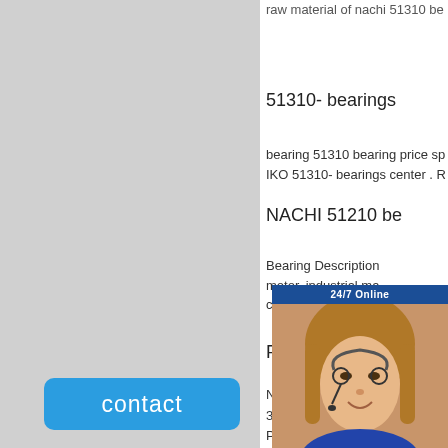raw material of nachi 51310 be
51310- bearings
bearing 51310 bearing price sp
IKO 51310- bearings center . R
NACHI 51210 be
Bearing Description
motor, industrial ma
compressors, motors and gene
FAG 51310 Thrust Ball Be
NACHI 51310 Thrust Ball Bear
31 mm. $60.95 + $36.00 Shipp
Picture ima
[Figure (photo): Customer service representative chat widget with 24/7 Online label, photo of woman with headset, Enter any requests click here text, and Quotation button]
contact